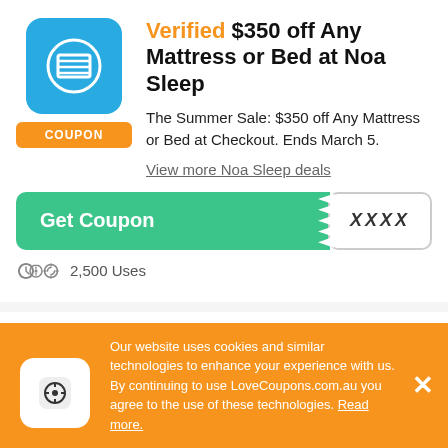[Figure (logo): Noa Sleep logo: blue rounded square with white N-flag icon]
COUPON
Verified $350 off Any Mattress or Bed at Noa Sleep
The Summer Sale: $350 off Any Mattress or Bed at Checkout. Ends March 5.
View more Noa Sleep deals
Get Coupon  XXXX
2,500 Uses
[Figure (logo): Noa Sleep logo: blue rounded square with partial circle icon]
Verified Extra 10% Off at
Our website uses cookies and similar technologies to enhance your experience with us. By continuing to use LoveCoupons.com.au you agree to the use of these technologies. Read more.